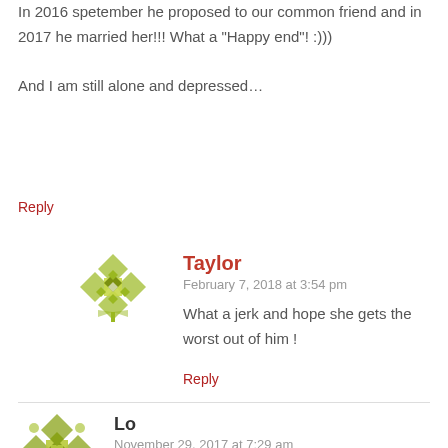In 2016 spetember he proposed to our common friend and in 2017 he married her!!! What a “Happy end”! :)))
And I am still alone and depressed…
Reply
Taylor
February 7, 2018 at 3:54 pm
What a jerk and hope she gets the worst out of him !
Reply
Lo
November 29, 2017 at 7:29 am